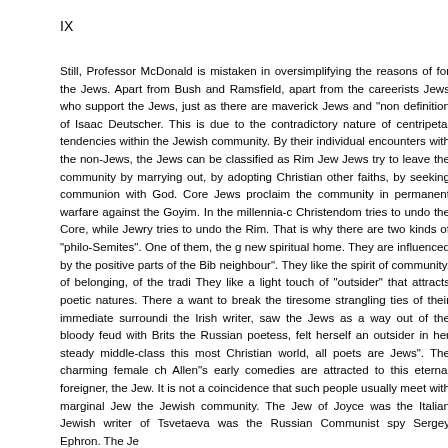IX
Still, Professor McDonald is mistaken in oversimplifying the reasons of for the Jews. Apart from Bush and Ramsfield, apart from the careerists Jews who support the Jews, just as there are maverick Jews and "non definition of Isaac Deutscher. This is due to the contradictory nature of centripetal tendencies within the Jewish community. By their individual encounters with the non-Jews, the Jews can be classified as Rim Jew Jews try to leave the community by marrying out, by adopting Christian other faiths, by seeking communion with God. Core Jews proclaim the community in permanent warfare against the Goyim. In the millennia-c Christendom tries to undo the Core, while Jewry tries to undo the Rim. That is why there are two kinds of "philo-Semites". One of them, the g new spiritual home. They are influenced by the positive parts of the Bib neighbour". They like the spirit of community, of belonging, of the tradi They like a light touch of "outsider" that attracts poetic natures. There a want to break the tiresome strangling ties of their immediate surroundi the Irish writer, saw the Jews as a way out of the bloody feud with Brits the Russian poetess, felt herself an outsider in her steady middle-class this most Christian world, all poets are Jews". The charming female ch Allen"s early comedies are attracted to this eternal foreigner, the Jew. It is not a coincidence that such people usually meet with marginal Jew the Jewish community. The Jew of Joyce was the Italian Jewish writer of Tsvetaeva was the Russian Communist spy Sergey Ephron. The Je